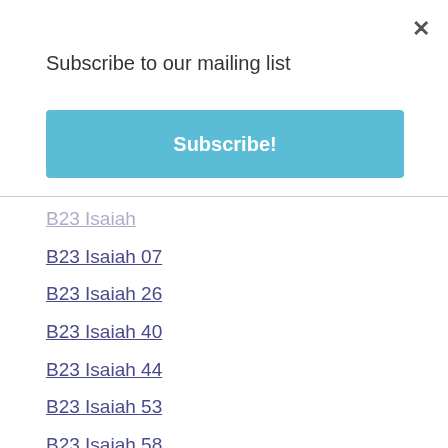×
Subscribe to our mailing list
Subscribe!
B23 Isaiah
B23 Isaiah 07
B23 Isaiah 26
B23 Isaiah 40
B23 Isaiah 44
B23 Isaiah 53
B23 Isaiah 58
B23 Isaiah 64
B26 Ezekiel 18
B27 Daniel 01
B27 Daniel 03
B27 Daniel 04
B27 Daniel 07
B28 Hosea
B28 Hosea 02